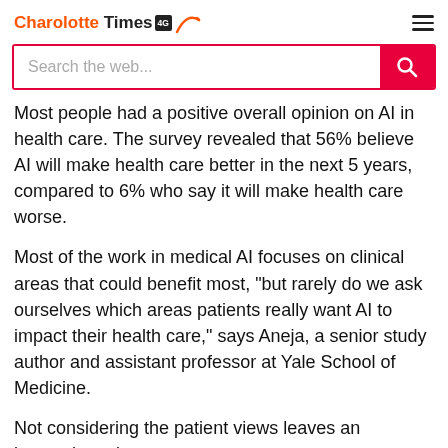Charolotte Times 4G [logo with arc]
Most people had a positive overall opinion on AI in health care. The survey revealed that 56% believe AI will make health care better in the next 5 years, compared to 6% who say it will make health care worse.
Most of the work in medical AI focuses on clinical areas that could benefit most, "but rarely do we ask ourselves which areas patients really want AI to impact their health care," says Aneja, a senior study author and assistant professor at Yale School of Medicine.
Not considering the patient views leaves an incomplete picture.
"In many ways, I would say our work highlights a potential blind spot among AI researchers that will need to be